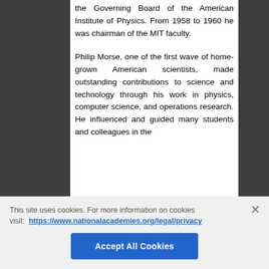the Governing Board of the American Institute of Physics. From 1958 to 1960 he was chairman of the MIT faculty.
Philip Morse, one of the first wave of home-grown American scientists, made outstanding contributions to science and technology through his work in physics, computer science, and operations research. He influenced and guided many students and colleagues in the
This site uses cookies. For more information on cookies visit: https://www.nationalacademies.org/legal/privacy
Accept All Cookies